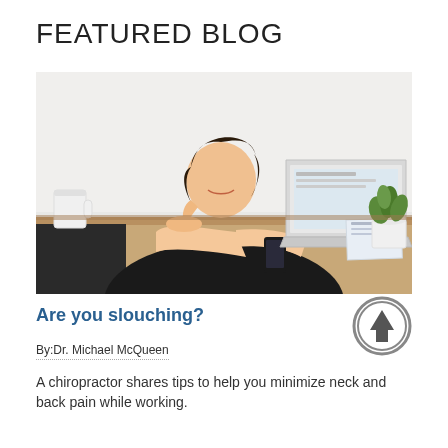FEATURED BLOG
[Figure (photo): Woman with dark hair leaning on her hand while looking at a laptop on a desk, appearing tired or stressed. A coffee cup and small plant are visible on the desk.]
Are you slouching?
By:Dr. Michael McQueen
A chiropractor shares tips to help you minimize neck and back pain while working.